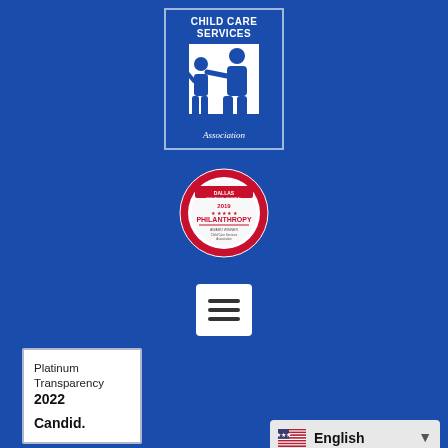[Figure (logo): Child Care Services Association logo with white figures of adult and child on blue background, with text 'CHILD CARE SERVICES' and 'Association']
[Figure (logo): Dallas Business Journal 2019 Philanthropy Award badge - circular red and white badge for Child Care Services Association]
[Figure (other): Hamburger menu icon - three horizontal lines on white square background]
[Figure (logo): Platinum Transparency 2022 Candid badge - white box with text]
English